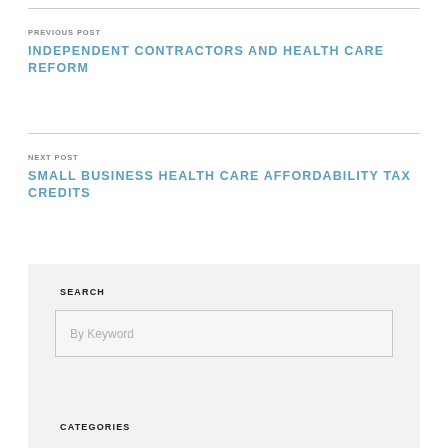PREVIOUS POST
INDEPENDENT CONTRACTORS AND HEALTH CARE REFORM
NEXT POST
SMALL BUSINESS HEALTH CARE AFFORDABILITY TAX CREDITS
SEARCH
By Keyword
CATEGORIES